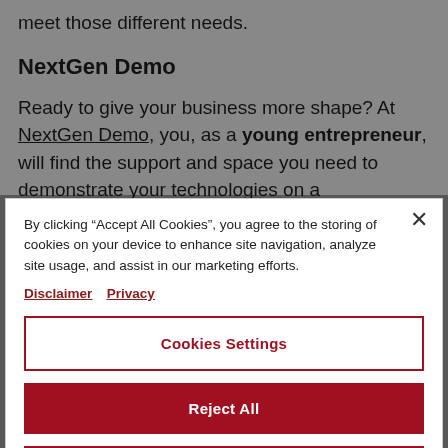meet those different needs.
NextGen Demo
Ready to give your business more shape? At NextGen Demo, you, as a young entrepreneur, will find the support and space you need to demonstrate your technologies on a
By clicking “Accept All Cookies”, you agree to the storing of cookies on your device to enhance site navigation, analyze site usage, and assist in our marketing efforts. Disclaimer Privacy
Cookies Settings
Reject All
Accept All Cookies